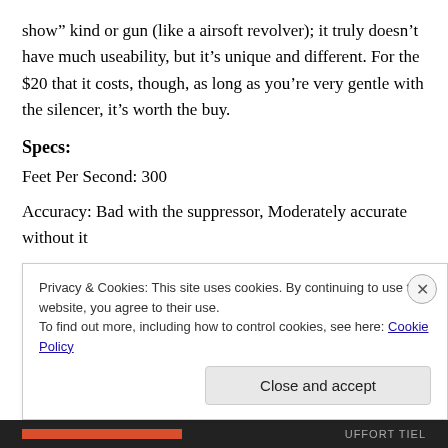show" kind or gun (like a airsoft revolver); it truly doesn't have much useability, but it's unique and different. For the $20 that it costs, though, as long as you're very gentle with the silencer, it's worth the buy.
Specs:
Feet Per Second: 300
Accuracy: Bad with the suppressor, Moderately accurate without it
Power: Spring (you must pull back the slide before every shot)
Privacy & Cookies: This site uses cookies. By continuing to use this website, you agree to their use.
To find out more, including how to control cookies, see here: Cookie Policy
Close and accept